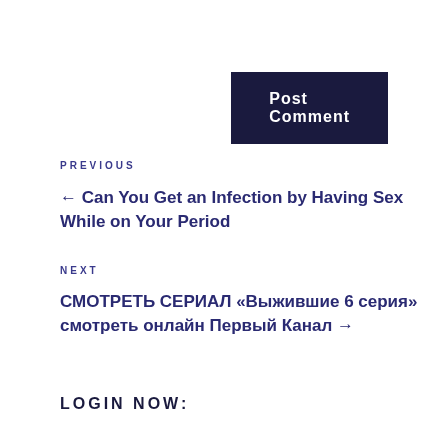Post Comment
PREVIOUS
← Can You Get an Infection by Having Sex While on Your Period
NEXT
СМОТРЕТЬ СЕРИАЛ «Выжившие 6 серия» смотреть онлайн Первый Канал →
LOGIN NOW: